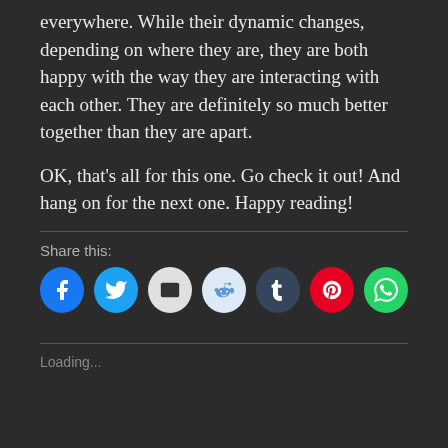everywhere. While their dynamic changes, depending on where they are, they are both happy with the way they are interacting with each other. They are definitely so much better together than they are apart.
OK, that’s all for this one. Go check it out! And hang on for the next one. Happy reading!
Share this:
[Figure (infographic): Row of social media share buttons: Facebook (blue), Twitter (cyan), Email (white/grey), Reddit (light blue), Tumblr (dark blue), Pinterest (red), WhatsApp (green)]
Loading...